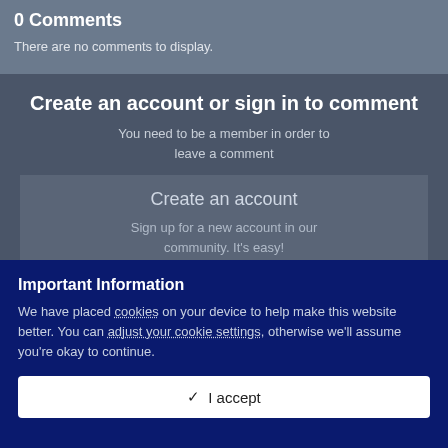0 Comments
There are no comments to display.
Create an account or sign in to comment
You need to be a member in order to leave a comment
Create an account
Sign up for a new account in our community. It's easy!
Important Information
We have placed cookies on your device to help make this website better. You can adjust your cookie settings, otherwise we'll assume you're okay to continue.
✔  I accept